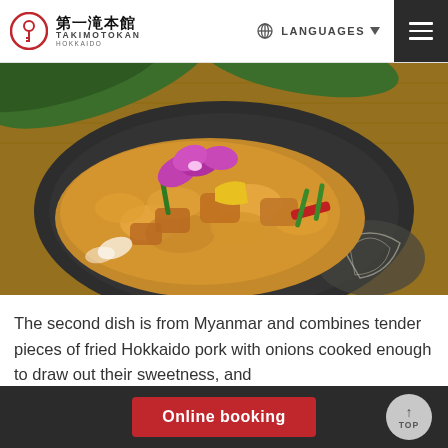第一滝本館 TAKIMOTOKAN HOKKAIDO — LANGUAGES — menu
[Figure (photo): A dark plate with a Myanmar-style dish: tender pieces of fried Hokkaido pork stir-fried with onions, colored bell peppers (yellow, red, green beans), garnished with a purple orchid flower, served on a dark stoneware plate with decorative white floral pattern. Background includes green tropical leaves and bamboo mat.]
The second dish is from Myanmar and combines tender pieces of fried Hokkaido pork with onions cooked enough to draw out their sweetness, and
Online booking  TOP